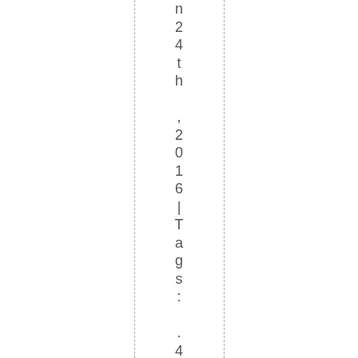n24th ,2016|Tags:. .40S&W ,114